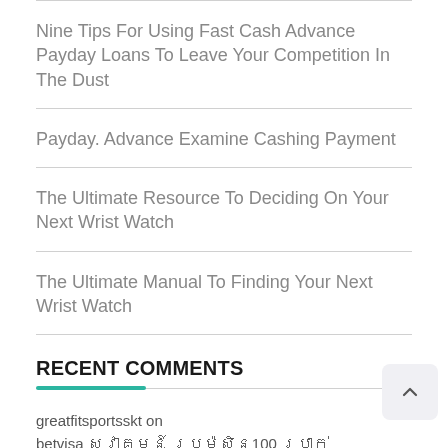Nine Tips For Using Fast Cash Advance Payday Loans To Leave Your Competition In The Dust
Payday. Advance Examine Cashing Payment
The Ultimate Resource To Deciding On Your Next Wrist Watch
The Ultimate Manual To Finding Your Next Wrist Watch
RECENT COMMENTS
greatfitsportsskt on betvisa ស្វាគមន៍ ប្រូម៉ូសិន100 ប្រាក់ ដែលអ្នកត្រូវទទួល